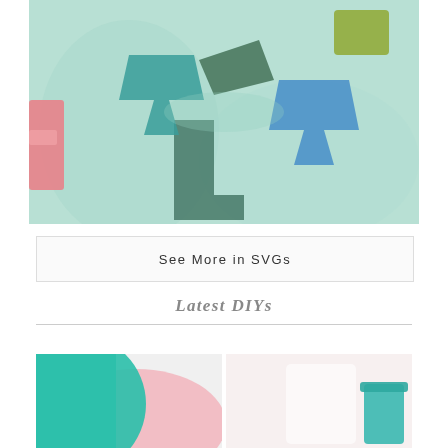[Figure (photo): Close-up photo of a mint/light green t-shirt with colorful alphabet letters (L, A) in teal, blue, dark green, yellow, and other colors applied to the fabric. A pink object is partially visible on the left edge.]
See More in SVGs
Latest DIYs
[Figure (photo): Two partially visible photos side by side: left shows teal and pink fabric/material, right shows a light background with a teal cup or container.]